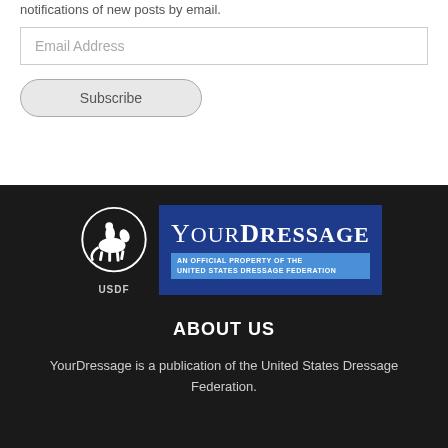notifications of new posts by email.
Email Address
Subscribe
[Figure (logo): YourDressage logo — USDF horse-and-rider emblem on left, blue rectangular panel with 'YourDressage' text and 'AN OFFICIAL PROPERTY OF THE UNITED STATES DRESSAGE FEDERATION' subtitle on right]
ABOUT US
YourDressage is a publication of the United States Dressage Federation.